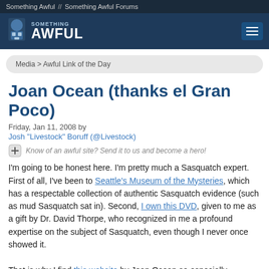Something Awful // Something Awful Forums
[Figure (logo): Something Awful logo with site icon and hamburger menu button on dark blue header bar]
Media > Awful Link of the Day
Joan Ocean (thanks el Gran Poco)
Friday, Jan 11, 2008 by
Josh "Livestock" Boruff (@Livestock)
Know of an awful site? Send it to us and become a hero!
I'm going to be honest here. I'm pretty much a Sasquatch expert. First of all, I've been to Seattle's Museum of the Mysteries, which has a respectable collection of authentic Sasquatch evidence (such as mud Sasquatch sat in). Second, I own this DVD, given to me as a gift by Dr. David Thorpe, who recognized in me a profound expertise on the subject of Sasquatch, even though I never once showed it.

That is why I find this website by Joan Ocean so especially